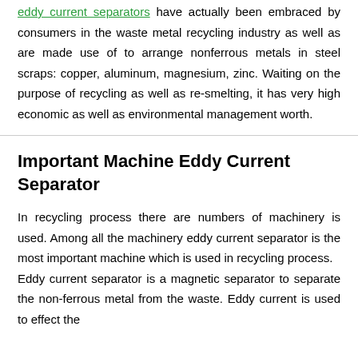eddy current separators have actually been embraced by consumers in the waste metal recycling industry as well as are made use of to arrange nonferrous metals in steel scraps: copper, aluminum, magnesium, zinc. Waiting on the purpose of recycling as well as re-smelting, it has very high economic as well as environmental management worth.
Important Machine Eddy Current Separator
In recycling process there are numbers of machinery is used. Among all the machinery eddy current separator is the most important machine which is used in recycling process. Eddy current separator is a magnetic separator to separate the non-ferrous metal from the waste. Eddy current is used to effect the